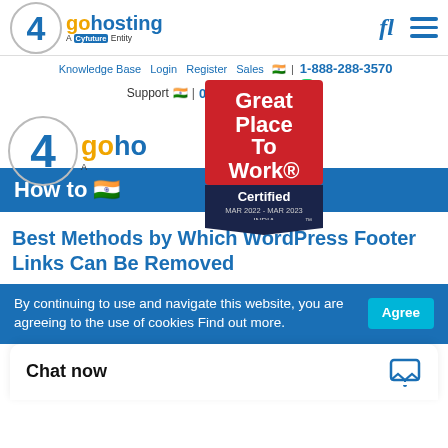[Figure (logo): go4hosting logo - A Cyfuture Entity, with navigation icons (f and hamburger menu)]
Knowledge Base  Login  Register  Sales  🇮🇳 | 1-888-288-3570
Support  🇮🇳 | 0120-62-77777
[Figure (logo): go4hosting large logo partial]
[Figure (other): Great Place To Work Certified badge MAR 2022 - MAR 2023 INDIA]
How to 🇮🇳
Best Methods by Which WordPress Footer Links Can Be Removed
By continuing to use and navigate this website, you are agreeing to the use of cookies Find out more.
Chat now